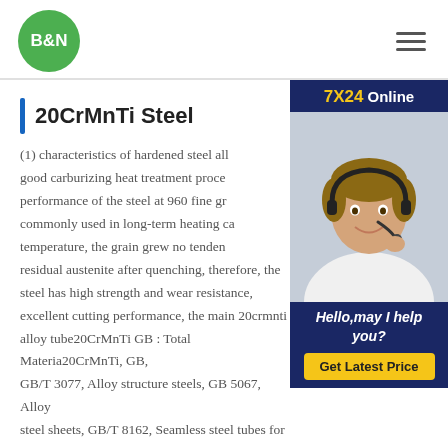B&N [logo] [hamburger menu]
20CrMnTi Steel
(1) characteristics of hardened steel all good carburizing heat treatment process performance of the steel at 960 fine gra commonly used in long-term heating ca temperature, the grain grew no tenden residual austenite after quenching, therefore, the steel has high strength and wear resistance, excellent cutting performance, the main 20crmnti alloy tube20CrMnTi GB : Total Materia20CrMnTi, GB, GB/T 3077, Alloy structure steels, GB 5067, Alloy steel sheets, GB/T 8162, Seamless steel tubes for
[Figure (photo): Customer service representative wearing headset, smiling. Sidebar with '7X24 Online' header, 'Hello,may I help you?' text, and 'Get Latest Price' button.]